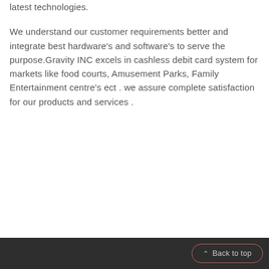latest technologies.
We understand our customer requirements better and integrate best hardware's and software's to serve the purpose.Gravity INC excels in cashless debit card system for markets like food courts, Amusement Parks, Family Entertainment centre's ect . we assure complete satisfaction for our products and services .
Back to top